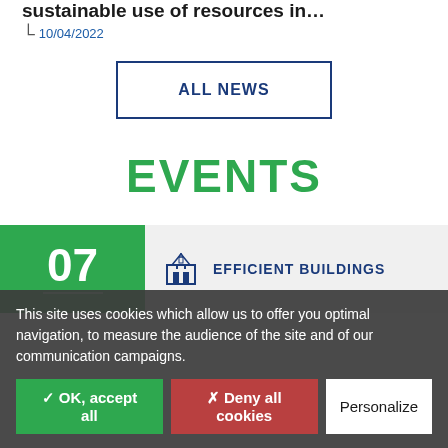sustainable use of resources in…
10/04/2022
ALL NEWS
EVENTS
07
EFFICIENT BUILDINGS
This site uses cookies which allow us to offer you optimal navigation, to measure the audience of the site and of our communication campaigns.
✓ OK, accept all
✗ Deny all cookies
Personalize